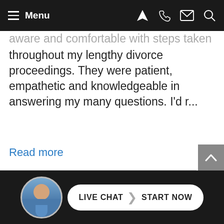Menu
aware and comfortable with steps taken throughout my lengthy divorce proceedings. They were patient, empathetic and knowledgeable in answering my many questions. I'd r...
Read more
— Shawn Hill
SEE ALL REVIEWS
[Figure (other): Carousel pagination dots: 1 filled black dot followed by 4 empty circles]
[Figure (other): Live chat widget with avatar and button reading LIVE CHAT START NOW]